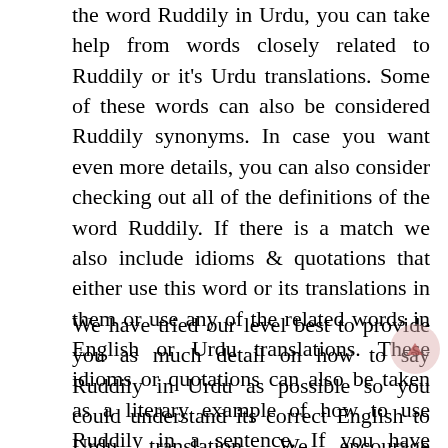the word Ruddily in Urdu, you can take help from words closely related to Ruddily or it's Urdu translations. Some of these words can also be considered Ruddily synonyms. In case you want even more details, you can also consider checking out all of the definitions of the word Ruddily. If there is a match we also include idioms & quotations that either use this word or its translations in them or use any of the related words in English or Urdu translations. These idioms or quotations can also be taken as a literary example of how to use Ruddily in a sentence. If you have trouble reading in Urdu we have also provided these meanings in Roman Urdu.
We have tried our level best to provide you as much detail on how to say Ruddily in Urdu as possible so you could understand its correct English to Urdu translation. We encourage everyone to contribute in